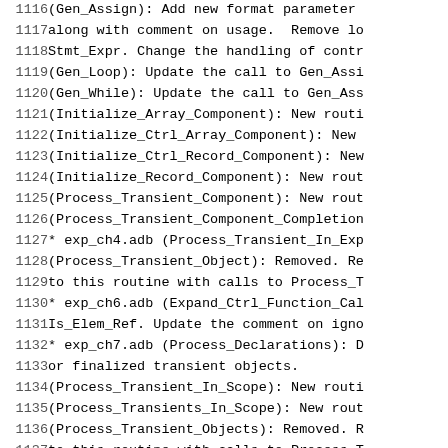Code listing with line numbers 1116-1137 showing source code change log entries referencing Ada source files and routines including Gen_Assign, Gen_Loop, Gen_While, Initialize_Array_Component, Initialize_Ctrl_Array_Component, Initialize_Ctrl_Record_Component, Initialize_Record_Component, Process_Transient_Component, Process_Transient_Component_Completion, exp_ch4.adb, Process_Transient_In_Exp, Process_Transient_Object, exp_ch6.adb, Expand_Ctrl_Function_Call, Is_Elem_Ref, exp_ch7.adb, Process_Declarations, Process_Transient_In_Scope, Process_Transients_In_Scope, Process_Transient_Objects